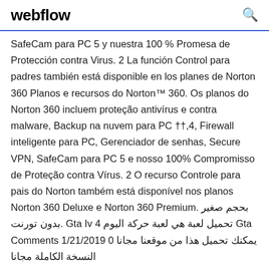webflow
SafeCam para PC 5 y nuestra 100 % Promesa de Protección contra Virus. 2 La función Control para padres también está disponible en los planes de Norton 360 Planos e recursos do Norton™ 360. Os planos do Norton 360 incluem proteção antivírus e contra malware, Backup na nuvem para PC ††.4, Firewall inteligente para PC, Gerenciador de senhas, Secure VPN, SafeCam para PC 5 e nosso 100% Compromisso de Proteção contra Vírus. 2 O recurso Controle para pais do Norton também está disponível nos planos Norton 360 Deluxe e Norton 360 Premium. بحجم صغير بدون تورنت. Gta Iv تحميل لعبة هي لعبة حركة اليوم 4 Gta Comments 1/21/2019 0 يمكنك تحميل هذا من موقعنا مجانا النسخة الكاملة مجانا